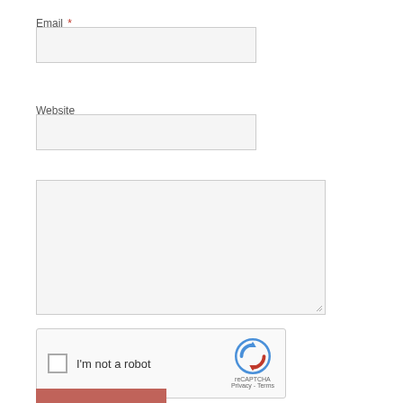Email *
[Figure (other): Email input field, empty, light gray background with border]
Website
[Figure (other): Website input field, empty, light gray background with border]
[Figure (other): Large textarea/comment input field, empty, light gray background with border and resize handle]
[Figure (other): reCAPTCHA widget with checkbox labeled 'I'm not a robot', reCAPTCHA logo, and Privacy/Terms links]
[Figure (other): Red submit button, partially visible at bottom of page]